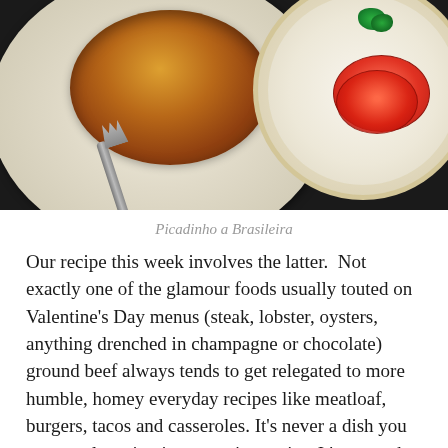[Figure (photo): Food photograph showing a dish (Picadinho a Brasileira) on a white plate with a fork on the left, and a decorative plate with sliced tomatoes and parsley on the right, against a dark background.]
Picadinho a Brasileira
Our recipe this week involves the latter.  Not exactly one of the glamour foods usually touted on Valentine's Day menus (steak, lobster, oysters, anything drenched in champagne or chocolate) ground beef always tends to get relegated to more humble, homey everyday recipes like meatloaf, burgers, tacos and casseroles. It's never a dish you see people eating in romantic movies. It's never the culinary centerpiece tucked in between candlelight and flower bouquets. And it's definitely not the most tantalizing type of meat to photograph.